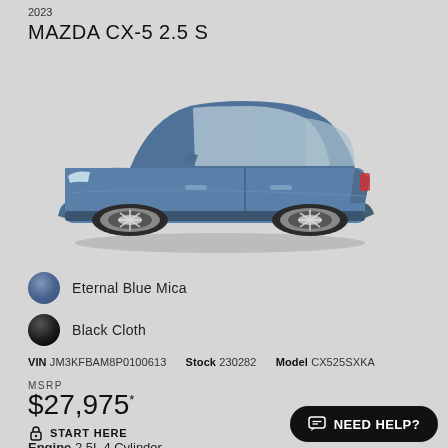2023 MAZDA CX-5 2.5 S
[Figure (photo): Side profile photo of a blue 2023 Mazda CX-5 2.5 S SUV on a gray background]
Eternal Blue Mica
Black Cloth
VIN JM3KFBAM8P0100613  Stock 230282  Model CX525SXKA
MSRP
$27,975*
START HERE
Engine 2.5L 4 Cylinder
NEED HELP?